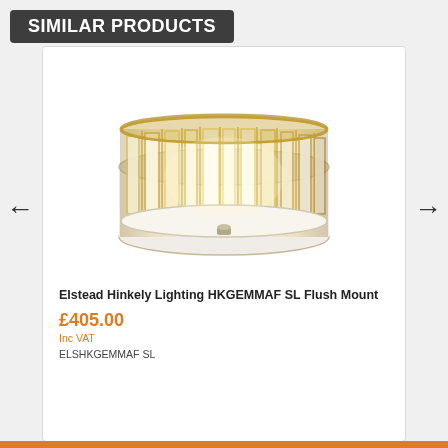SIMILAR PRODUCTS
[Figure (photo): Elstead Hinkely Lighting HKGEMMAF SL Flush Mount ceiling light with crystal glass panels in a circular drum shade with gold/silver finish]
Elstead Hinkely Lighting HKGEMMAF SL Flush Mount
£405.00
Inc VAT
ELSHKGEMMAF SL